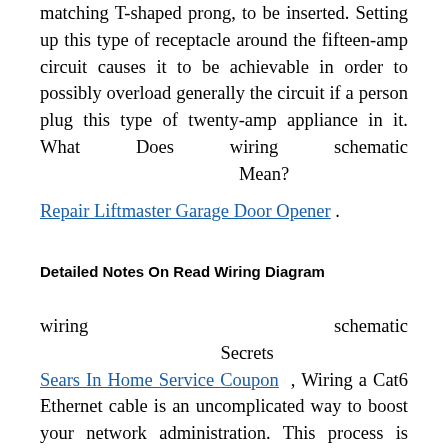This problem allows twenty-amp units, which have a matching T-shaped prong, to be inserted. Setting up this type of receptacle around the fifteen-amp circuit causes it to be achievable in order to possibly overload generally the circuit if a person plug this type of twenty-amp appliance in it. What Does wiring schematic Mean?
Repair Liftmaster Garage Door Opener .
Detailed Notes On Read Wiring Diagram
wiring schematic Secrets
Sears In Home Service Coupon , Wiring a Cat6 Ethernet cable is an uncomplicated way to boost your network administration. This process is straightforward and sleek, and we have supplied every little thing you might want to start With this practical post, which includes a detailed wiring diagram. So, How are you going to wire your personal Cat6 cables?